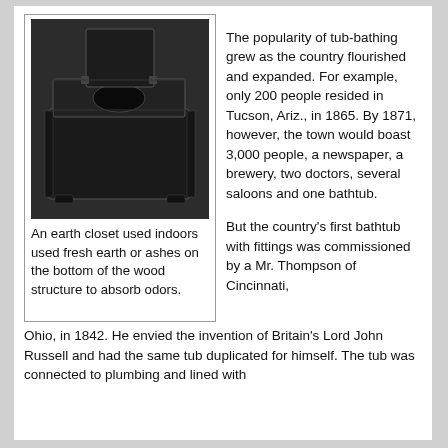[Figure (photo): Black and white photograph of an earth closet – a dark wooden box structure with an opening on top and a seat/lid, used indoors as a toilet substitute.]
An earth closet used indoors used fresh earth or ashes on the bottom of the wood structure to absorb odors.
The popularity of tub-bathing grew as the country flourished and expanded. For example, only 200 people resided in Tucson, Ariz., in 1865. By 1871, however, the town would boast 3,000 people, a newspaper, a brewery, two doctors, several saloons and one bathtub.
But the country's first bathtub with fittings was commissioned by a Mr. Thompson of Cincinnati, Ohio, in 1842. He envied the invention of Britain's Lord John Russell and had the same tub duplicated for himself. The tub was connected to plumbing and lined with
Ohio, in 1842. He envied the invention of Britain's Lord John Russell and had the same tub duplicated for himself.